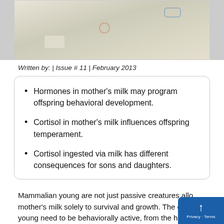[Figure (photo): Close-up photo of fabric or cloth with decorative children's print patterns — cars, shapes, in pastel colors]
Written by: | Issue # 11 | February 2013
Hormones in mother’s milk may program offspring behavioral development.
Cortisol in mother’s milk influences offspring temperament.
Cortisol ingested via milk has different consequences for sons and daughters.
Mammalian young are not just passive creatures allo mother’s milk solely to survival and growth. The calor young need to be behaviorally active, from the hesitant